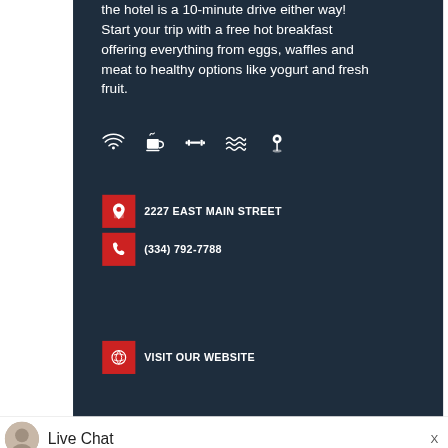the hotel is a 10-minute drive either way! Start your trip with a free hot breakfast offering everything from eggs, waffles and meat to healthy options like yogurt and fresh fruit.
[Figure (infographic): Row of 5 white amenity icons on dark blue background: WiFi, coffee cup, fitness/barbell, waves (pool/spa), golf pin]
2227 EAST MAIN STREET
(334) 792-7788
VISIT OUR WEBSITE
Live Chat
REQUEST A VISITORS GUIDE